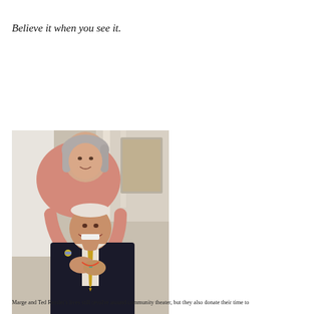Believe it when you see it.
[Figure (photo): A smiling older woman with gray hair stands behind a laughing older man in a suit and tie, embracing him from behind in a warm, affectionate pose indoors.]
Marge and Ted Ressler's lives still revolve around community theater, but they also donate their time to